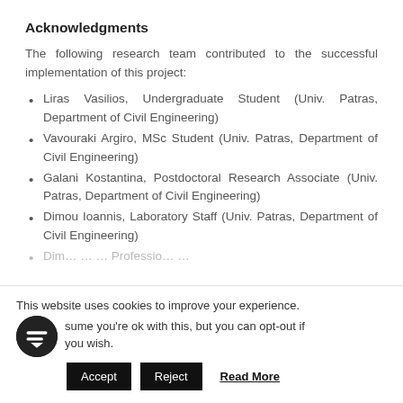Acknowledgments
The following research team contributed to the successful implementation of this project:
Liras Vasilios, Undergraduate Student (Univ. Patras, Department of Civil Engineering)
Vavouraki Argiro, MSc Student (Univ. Patras, Department of Civil Engineering)
Galani Kostantina, Postdoctoral Research Associate (Univ. Patras, Department of Civil Engineering)
Dimou Ioannis, Laboratory Staff (Univ. Patras, Department of Civil Engineering)
This website uses cookies to improve your experience. We'll assume you're ok with this, but you can opt-out if you wish.
Accept  Reject  Read More